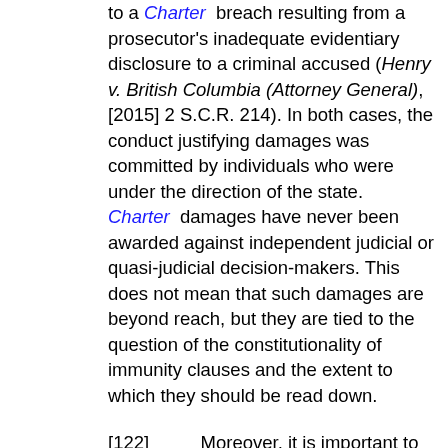to a Charter breach resulting from a prosecutor's inadequate evidentiary disclosure to a criminal accused (Henry v. British Columbia (Attorney General), [2015] 2 S.C.R. 214). In both cases, the conduct justifying damages was committed by individuals who were under the direction of the state. Charter damages have never been awarded against independent judicial or quasi-judicial decision-makers. This does not mean that such damages are beyond reach, but they are tied to the question of the constitutionality of immunity clauses and the extent to which they should be read down.
[122]        Moreover, it is important to note that in Ward and Henry, this Court had the benefit of significant contributions from various Attorneys General when deciding the s. 24(1) damages claims.